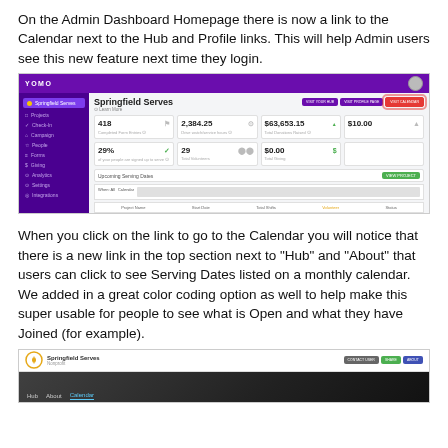On the Admin Dashboard Homepage there is now a link to the Calendar next to the Hub and Profile links. This will help Admin users see this new feature next time they login.
[Figure (screenshot): Admin Dashboard homepage screenshot showing navigation with Hub, Profile Page, and Visit Calendar buttons highlighted with a red circle around Visit Calendar button. Dashboard stats include 418 completed form entries, 2,384.25 drive watch/service hours, $63,653.15 total donations, $10.00, 29%, 29 total volunteers, $0.00 total giving.]
When you click on the link to go to the Calendar you will notice that there is a new link in the top section next to "Hub" and "About" that users can click to see Serving Dates listed on a monthly calendar. We added in a great color coding option as well to help make this super usable for people to see what is Open and what they have Joined (for example).
[Figure (screenshot): Springfield Serves calendar page screenshot showing navigation bar with Hub, About, and Calendar links (Calendar is highlighted/active in blue). Top right shows buttons for Contact User, Share, and About.]